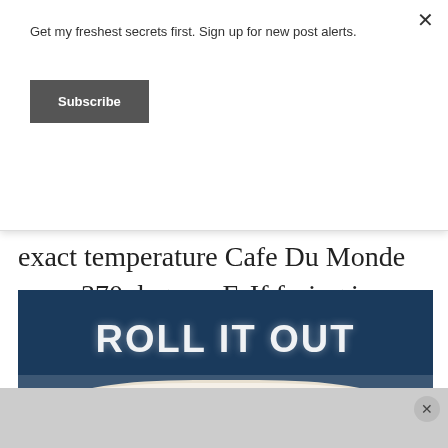Get my freshest secrets first. Sign up for new post alerts.
Subscribe
exact temperature Cafe Du Monde uses: 370 degrees F. If frying in a pan on your stovetop, use a thermometer. Or you can use a deep fryer, which regulates the temp better.
[Figure (photo): Photo with dark blue background showing the text 'ROLL IT OUT' spelled in white powdered sugar/flour, with hands holding dough dusted with flour below.]